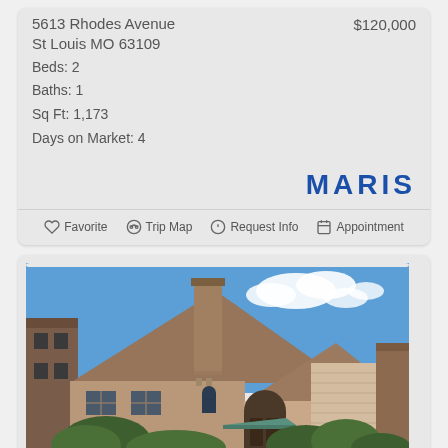5613 Rhodes Avenue
St Louis MO 63109
Beds: 2
Baths: 1
Sq Ft: 1,173
Days on Market: 4
$120,000
[Figure (logo): MARIS logo in bold blue text]
Favorite  Trip Map  Request Info  Appointment
[Figure (photo): Exterior photo of a brick Tudor-style home with steep gabled roof, chimney, arched doorway, and lush green trees in front. Blue sky with white clouds in background.]